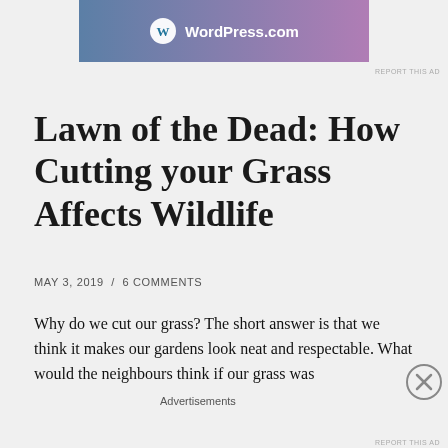[Figure (screenshot): WordPress.com advertisement banner with logo and text]
Lawn of the Dead: How Cutting your Grass Affects Wildlife
MAY 3, 2019  /  6 COMMENTS
Why do we cut our grass? The short answer is that we think it makes our gardens look neat and respectable. What would the neighbours think if our grass was
Advertisements
[Figure (screenshot): Longreads advertisement: The best stories on the web — ours, and everyone else's.]